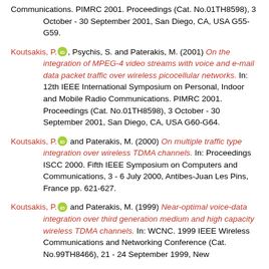Communications. PIMRC 2001. Proceedings (Cat. No.01TH8598), 3 October - 30 September 2001, San Diego, CA, USA G55-G59.
Koutsakis, P. [orcid], Psychis, S. and Paterakis, M. (2001) On the integration of MPEG-4 video streams with voice and e-mail data packet traffic over wireless picocellular networks. In: 12th IEEE International Symposium on Personal, Indoor and Mobile Radio Communications. PIMRC 2001. Proceedings (Cat. No.01TH8598), 3 October - 30 September 2001, San Diego, CA, USA G60-G64.
Koutsakis, P. [orcid] and Paterakis, M. (2000) On multiple traffic type integration over wireless TDMA channels. In: Proceedings ISCC 2000. Fifth IEEE Symposium on Computers and Communications, 3 - 6 July 2000, Antibes-Juan Les Pins, France pp. 621-627.
Koutsakis, P. [orcid] and Paterakis, M. (1999) Near-optimal voice-data integration over third generation medium and high capacity wireless TDMA channels. In: WCNC. 1999 IEEE Wireless Communications and Networking Conference (Cat. No.99TH8466), 21 - 24 September 1999, New